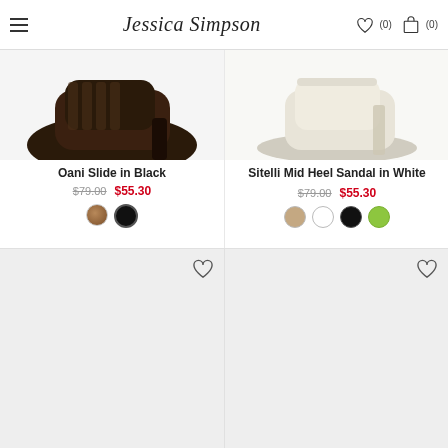Jessica Simpson — navigation header with hamburger menu, logo, wishlist (0), cart (0)
[Figure (screenshot): Top portion of Oani Slide in Black product image (dark brown shoe, partially visible)]
[Figure (screenshot): Top portion of Sitelli Mid Heel Sandal in White product image (cream/white shoe, partially visible)]
Oani Slide in Black
$79.00  $55.30
Sitelli Mid Heel Sandal in White
$79.00  $55.30
[Figure (photo): Bottom-row left product image placeholder (light gray background with heart icon)]
[Figure (photo): Bottom-row right product image placeholder (light gray background with heart icon)]